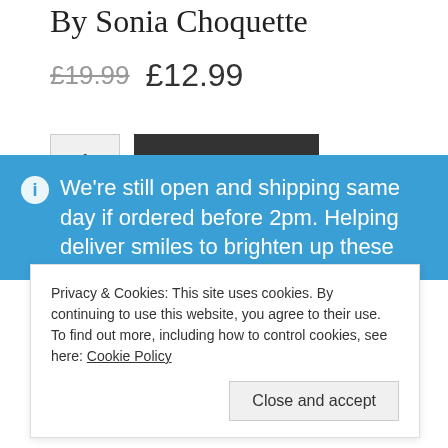By Sonia Choquette
£19.99  £12.99
1   Add to basket
PayPal  Pay in 3 interest-free payments on purchases from
We're still open and shipping same day if ordered before 2pm. Helping deliver smiles to brighten up these
Privacy & Cookies: This site uses cookies. By continuing to use this website, you agree to their use.
To find out more, including how to control cookies, see here: Cookie Policy
Close and accept